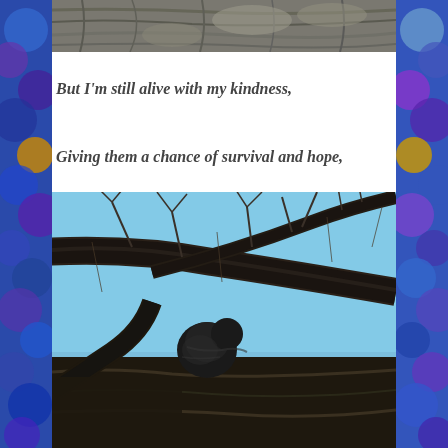[Figure (photo): Partial view of tree bark texture at the top of the page, cropped]
But I'm still alive with my kindness,
Giving them a chance of survival and hope,
[Figure (photo): A bird perched in the crook of a large dark tree branch against a bright blue sky, with bare winter branches in the background]